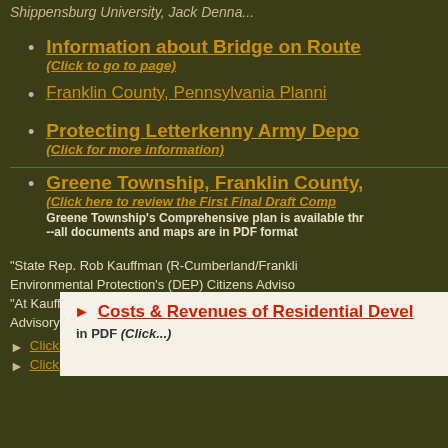Shippensburg University, Jack Denna...
Information about Bridge on Route (Click to go to page)
Franklin County, Pennsylvania Planni...
Protecting Letterkenny Army Depo... (Click for more information)
Greene Township, Franklin County, ... (Click here to review the First Final Draft Comp...) Greene Township's Comprehensive plan is available thr... --all documents and maps are in PDF format
"State Rep. Rob Kauffman (R-Cumberland/Frankli... Environmental Protection's (DEP) Citizens Adviso... "At Kauffman's recommendation, Antoun was rec... Advisory Council. DeEtta has been the director of...
► Click to read the entire announcement on Repr...
► Click to learn more about the Citizens Advisory Co...
► Costs & Revenues of Residential Devel... in PDF (Click...)